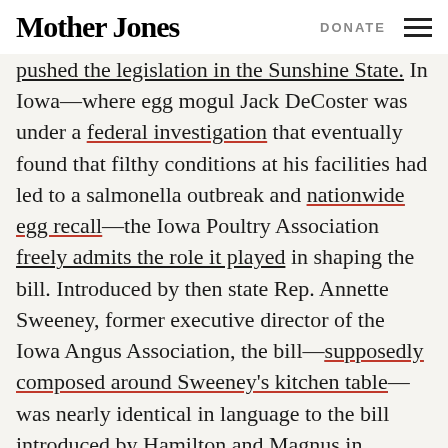Mother Jones | DONATE
pushed the legislation in the Sunshine State. In Iowa—where egg mogul Jack DeCoster was under a federal investigation that eventually found that filthy conditions at his facilities had led to a salmonella outbreak and nationwide egg recall—the Iowa Poultry Association freely admits the role it played in shaping the bill. Introduced by then state Rep. Annette Sweeney, former executive director of the Iowa Angus Association, the bill—supposedly composed around Sweeney's kitchen table—was nearly identical in language to the bill introduced by Hamilton and Magnus in Minnesota, which in turn borrowed from ALEC's model legislation.